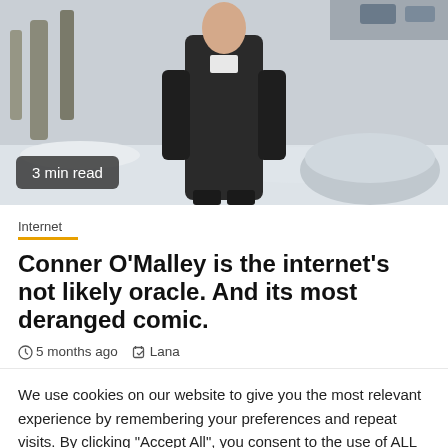[Figure (photo): A person in a black suit standing outdoors in a winter scene with snow and bare trees. A '3 min read' badge overlays the lower left of the image.]
Internet
Conner O'Malley is the internet's not likely oracle. And its most deranged comic.
5 months ago  Lana
We use cookies on our website to give you the most relevant experience by remembering your preferences and repeat visits. By clicking "Accept All", you consent to the use of ALL the cookies. However, you may visit "Cookie Settings" to provide a controlled consent.